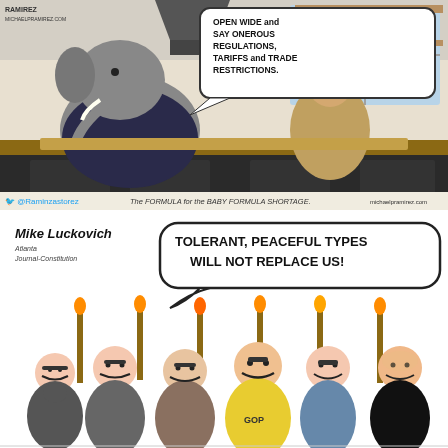[Figure (illustration): Political cartoon by Ramirez (michaelpramirez.com). Shows an elephant (Republican symbol) wearing a suit, seated at a kitchen counter across from a figure in a sombrero. The elephant has a speech bubble reading 'OPEN WIDE and SAY ONEROUS REGULATIONS, TARIFFS and TRADE RESTRICTIONS.' Caption below: 'The FORMULA for the BABY FORMULA SHORTAGE.' Twitter handle '@Raminzastorez' visible.]
[Figure (illustration): Political cartoon by Mike Luckovich of the Atlanta Journal-Constitution. Shows a crowd of angry-looking men carrying torches and bats, with a speech bubble saying 'TOLERANT, PEACEFUL TYPES WILL NOT REPLACE US!' One figure wears a shirt that says 'GOP'.]